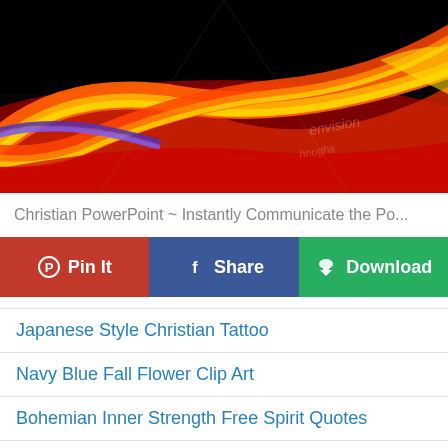[Figure (illustration): Abstract swirling light streaks in red, orange, yellow, and blue-purple on a black background, with a watermark reading 'envision']
Christian PowerPoint ~ Instantly Communicate the Po...
Pin It
Share
Download
Japanese Style Christian Tattoo
Navy Blue Fall Flower Clip Art
Bohemian Inner Strength Free Spirit Quotes
Christian Banner Background Websites